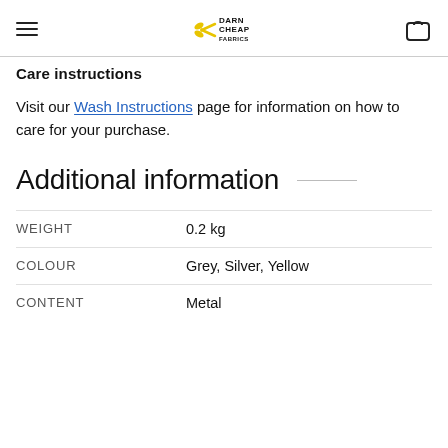Darn Cheap Fabrics — navigation bar with hamburger menu, logo, and bag icon
Care instructions
Visit our Wash Instructions page for information on how to care for your purchase.
Additional information
| Attribute | Value |
| --- | --- |
| WEIGHT | 0.2 kg |
| COLOUR | Grey, Silver, Yellow |
| CONTENT | Metal |